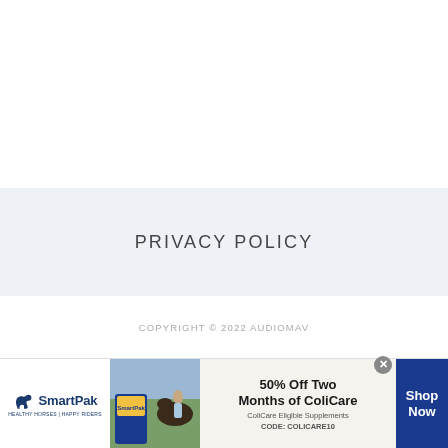PRIVACY POLICY
COPYRIGHT © 2022 AUDIOMAV
[Figure (other): SmartPak advertisement banner: SmartPak logo on left, product image with horse and woman in center, text '50% Off Two Months of ColiCare, ColiCare Eligible Supplements, CODE: COLICARE10', and 'Shop Now' button on right in dark blue.]